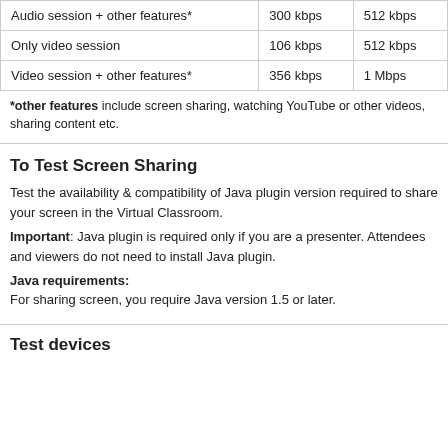| Audio session + other features* | 300 kbps | 512 kbps |
| Only video session | 106 kbps | 512 kbps |
| Video session + other features* | 356 kbps | 1 Mbps |
*other features include screen sharing, watching YouTube or other videos, sharing content etc.
To Test Screen Sharing
Test the availability & compatibility of Java plugin version required to share your screen in the Virtual Classroom.
Important: Java plugin is required only if you are a presenter. Attendees and viewers do not need to install Java plugin.
Java requirements:
For sharing screen, you require Java version 1.5 or later.
Test devices